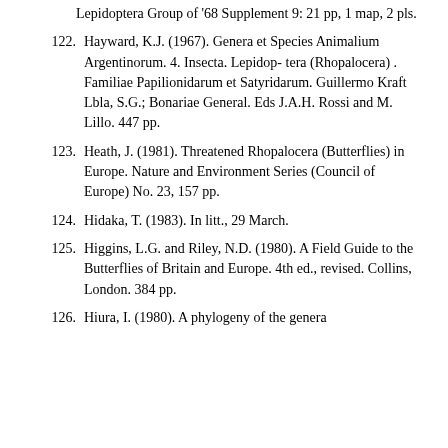Lepidoptera Group of '68 Supplement 9: 21 pp, 1 map, 2 pls.
122. Hayward, K.J. (1967). Genera et Species Animalium Argentinorum. 4. Insecta. Lepidop- tera (Rhopalocera) . Familiae Papilionidarum et Satyridarum. Guillermo Kraft Lbla, S.G.; Bonariae General. Eds J.A.H. Rossi and M. Lillo. 447 pp.
123. Heath, J. (1981). Threatened Rhopalocera (Butterflies) in Europe. Nature and Environment Series (Council of Europe) No. 23, 157 pp.
124. Hidaka, T. (1983). In litt., 29 March.
125. Higgins, L.G. and Riley, N.D. (1980). A Field Guide to the Butterflies of Britain and Europe. 4th ed., revised. Collins, London. 384 pp.
126. Hiura, I. (1980). A phylogeny of the genera...